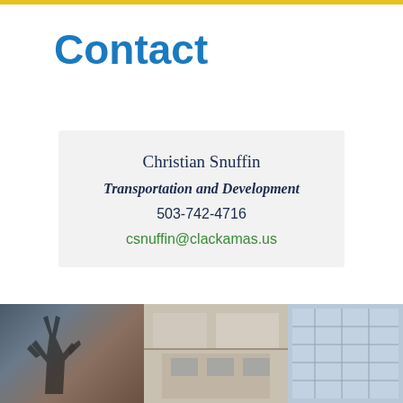Contact
Christian Snuffin
Transportation and Development
503-742-4716
csnuffin@clackamas.us
[Figure (photo): Photo strip showing building exterior with sculpture silhouette on left, modern building facade in center, and glass building on right]